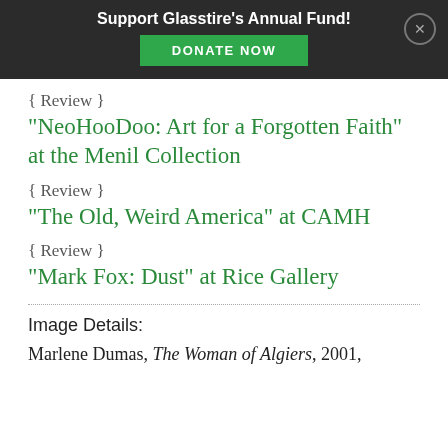Support Glasstire's Annual Fund! DONATE NOW
{ Review }
"NeoHooDoo: Art for a Forgotten Faith" at the Menil Collection
{ Review }
"The Old, Weird America" at CAMH
{ Review }
"Mark Fox: Dust" at Rice Gallery
Image Details:
Marlene Dumas, The Woman of Algiers, 2001,